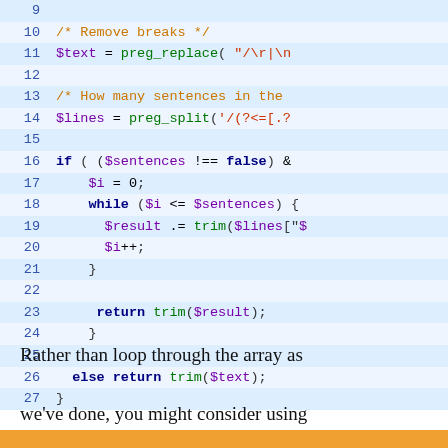[Figure (screenshot): Syntax-highlighted PHP code snippet, lines 9–27, showing removal of line breaks, splitting into sentences, looping with while, and returning trimmed result.]
Rather than loop through the array as we've done, you might consider using array_slice().